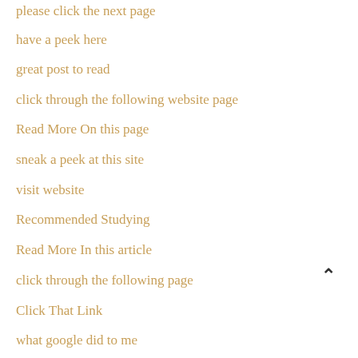please click the next page
have a peek here
great post to read
click through the following website page
Read More On this page
sneak a peek at this site
visit website
Recommended Studying
Read More In this article
click through the following page
Click That Link
what google did to me